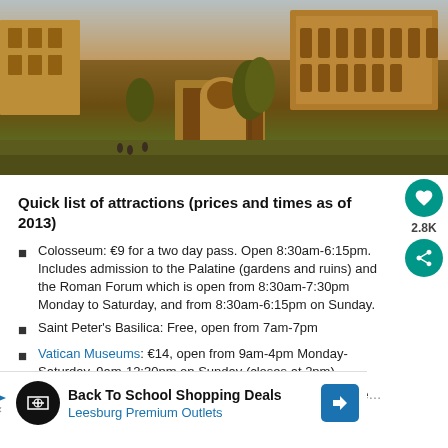[Figure (photo): Aerial/distant view of Rome showing ancient ruins including the Colosseum and Roman Forum arch, with historic buildings and trees]
Quick list of attractions (prices and times as of 2013)
Colosseum: €9 for a two day pass. Open 8:30am-6:15pm. Includes admission to the Palatine (gardens and ruins) and the Roman Forum which is open from 8:30am-7:30pm Monday to Saturday, and from 8:30am-6:15pm on Sunday.
Saint Peter's Basilica: Free, open from 7am-7pm
Vatican Museums: €14, open from 9am-4pm Monday-Saturday, 9am-12:30pm on Sunday (closes at 2pm)
Tickets for the Papal address: apply online or join the queue St. Peter's Square on Tuesdays.